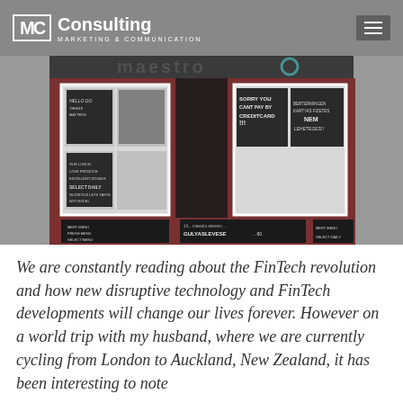MC Consulting - Marketing & Communication
[Figure (photo): Storefront of Maestro restaurant with chalkboard signs in windows. One sign reads 'SORRY YOU CANT PAY BY CREDITCARD!!!' and another in Hungarian reads 'BERTERMINGEN KARTYAS FIZETES NEM LEHETEGES!!']
We are constantly reading about the FinTech revolution and how new disruptive technology and FinTech developments will change our lives forever. However on a world trip with my husband, where we are currently cycling from London to Auckland, New Zealand, it has been interesting to note